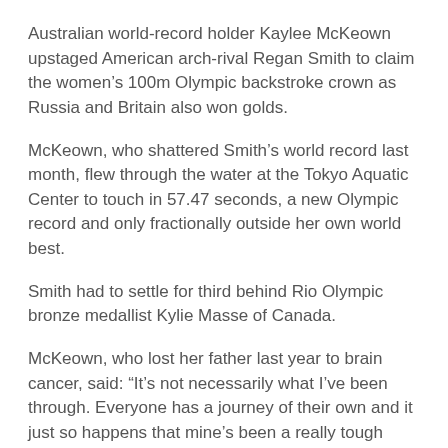Australian world-record holder Kaylee McKeown upstaged American arch-rival Regan Smith to claim the women's 100m Olympic backstroke crown as Russia and Britain also won golds.
McKeown, who shattered Smith's world record last month, flew through the water at the Tokyo Aquatic Center to touch in 57.47 seconds, a new Olympic record and only fractionally outside her own world best.
Smith had to settle for third behind Rio Olympic bronze medallist Kylie Masse of Canada.
McKeown, who lost her father last year to brain cancer, said: “It’s not necessarily what I’ve been through. Everyone has a journey of their own and it just so happens that mine’s been a really tough one.”
On a day of upsets, American women’s 100m breaststroke world-record holder and defending champion Lilly King was beaten, and teammate and 100m backstroke champion Ryan Murphy also tasted defeat.